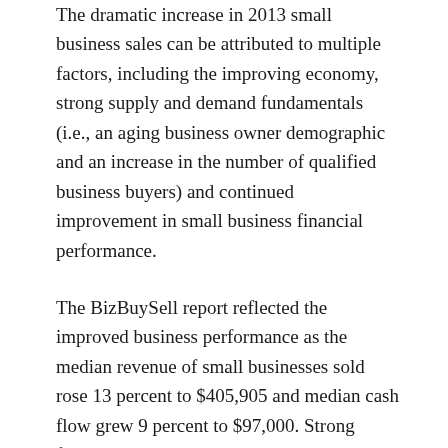The dramatic increase in 2013 small business sales can be attributed to multiple factors, including the improving economy, strong supply and demand fundamentals (i.e., an aging business owner demographic and an increase in the number of qualified business buyers) and continued improvement in small business financial performance.
The BizBuySell report reflected the improved business performance as the median revenue of small businesses sold rose 13 percent to $405,905 and median cash flow grew 9 percent to $97,000. Strong financial improvement, in turn, helped push the median sale price up 13 percent to $180,000 – great